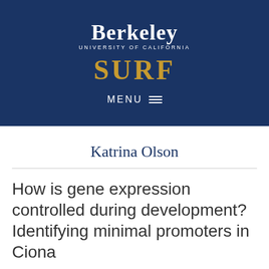[Figure (logo): Berkeley University of California SURF logo on dark navy blue background with gold SURF text and white Berkeley text, with MENU navigation bar]
Katrina Olson
How is gene expression controlled during development? Identifying minimal promoters in Ciona